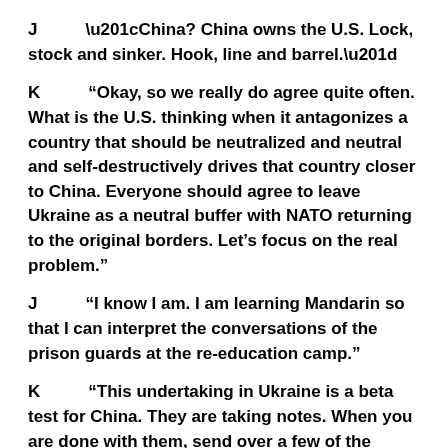J	“China?  China owns the U.S.  Lock, stock and sinker.  Hook, line and barrel.”
K	“Okay, so we really do agree quite often.  What is the U.S. thinking when it antagonizes a country that should be neutralized and neutral and self-destructively drives that country closer to China.  Everyone should agree to leave Ukraine as a neutral buffer with NATO returning to the original borders.  Let’s focus on the real problem.”
J	“I know I am.  I am learning Mandarin so that I can interpret the conversations of the prison guards at the re-education camp.”
K	“This undertaking in Ukraine is a beta test for China.  They are taking notes.  When you are done with them, send over a few of the language tapes.”